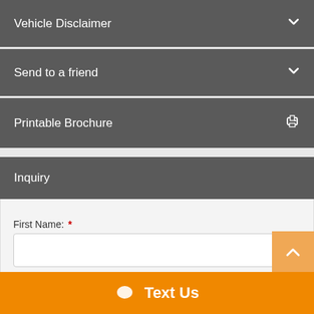Vehicle Disclaimer
Send to a friend
Printable Brochure
Inquiry
First Name: *
Last Name: *
Email: *
Text Us